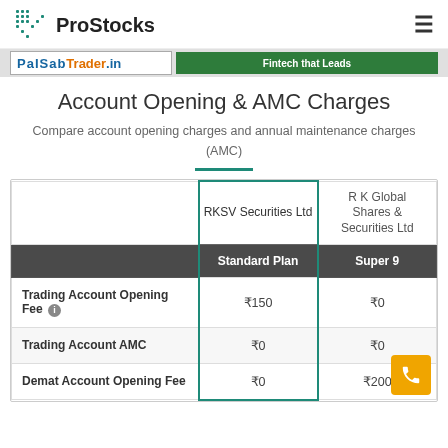ProStocks
Account Opening & AMC Charges
Compare account opening charges and annual maintenance charges (AMC)
|  | RKSV Securities Ltd / Standard Plan | R K Global Shares & Securities Ltd / Super 9 |
| --- | --- | --- |
| Trading Account Opening Fee | ₹150 | ₹0 |
| Trading Account AMC | ₹0 | ₹0 |
| Demat Account Opening Fee | ₹0 | ₹200 |